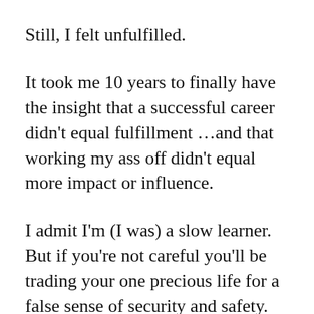Still, I felt unfulfilled.
It took me 10 years to finally have the insight that a successful career didn't equal fulfillment …and that working my ass off didn't equal more impact or influence.
I admit I'm (I was) a slow learner. But if you're not careful you'll be trading your one precious life for a false sense of security and safety.
99% of people do exactly that.
They work HARDER, hustle, grind and push more, or worse 'fake it til they make it' hoping